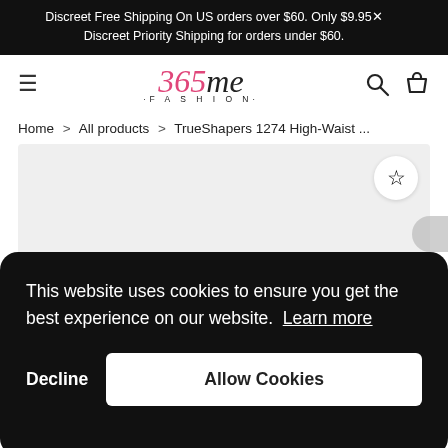Discreet Free Shipping On US orders over $60. Only $9.95 Discreet Priority Shipping for orders under $60.
[Figure (logo): 365 me FASHION logo in pink and black italic serif font]
Home > All products > TrueShapers 1274 High-Waist ...
[Figure (photo): Product image area (grey background) with wishlist star icon button]
This website uses cookies to ensure you get the best experience on our website. Learn more
Decline   Allow Cookies